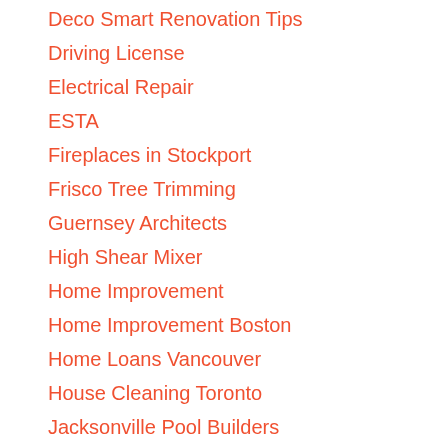Deco Smart Renovation Tips
Driving License
Electrical Repair
ESTA
Fireplaces in Stockport
Frisco Tree Trimming
Guernsey Architects
High Shear Mixer
Home Improvement
Home Improvement Boston
Home Loans Vancouver
House Cleaning Toronto
Jacksonville Pool Builders
Knowsley Removals
Metal Roofing Sydney